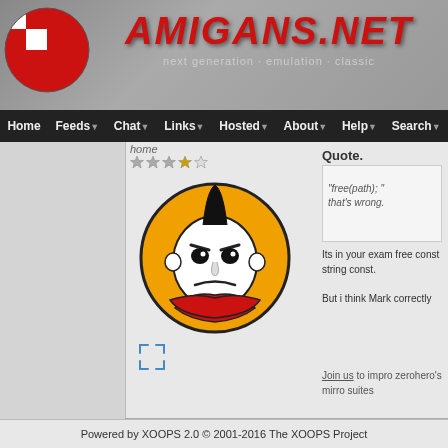AMIGANS.NET — next generation · emulation · classic
Home | Feeds | Chat | Links | Hosted | About | Help | Search
home
[Figure (illustration): Orange circle avatar with cartoon punk character having mohawk hair, crossed arms, frowning face]
Quote.
"free(path); "
that's wrong.
Its in your exam free const string const.

But i think Mark correctly
Join us to impro zerohero's mirro suites
Powered by XOOPS 2.0 © 2001-2016 The XOOPS Project